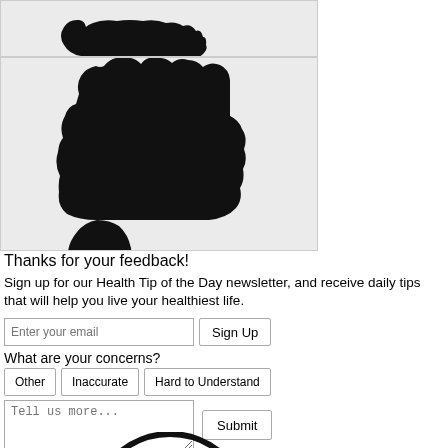[Figure (illustration): Thumbs down silhouette (top portion, cropped) — black hand icon on light gray background]
[Figure (illustration): Thumbs down silhouette — large black hand with thumb pointing down on light gray background]
Thanks for your feedback!
Sign up for our Health Tip of the Day newsletter, and receive daily tips that will help you live your healthiest life.
Enter your email [input field] Sign Up [button]
What are your concerns?
Other | Inaccurate | Hard to Understand [buttons]
Tell us more... [textarea] Submit [button]
[Figure (illustration): Circular avatar/face icon, partially visible at bottom of page]